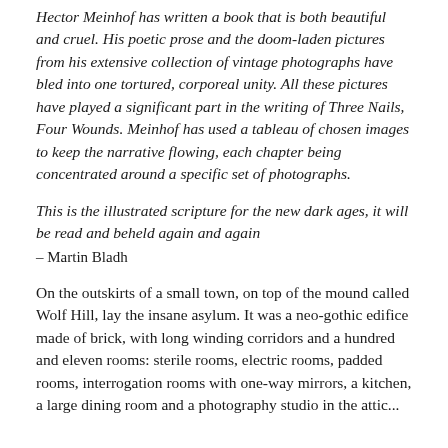Hector Meinhof has written a book that is both beautiful and cruel. His poetic prose and the doom-laden pictures from his extensive collection of vintage photographs have bled into one tortured, corporeal unity. All these pictures have played a significant part in the writing of Three Nails, Four Wounds. Meinhof has used a tableau of chosen images to keep the narrative flowing, each chapter being concentrated around a specific set of photographs.
This is the illustrated scripture for the new dark ages, it will be read and beheld again and again
– Martin Bladh
On the outskirts of a small town, on top of the mound called Wolf Hill, lay the insane asylum. It was a neo-gothic edifice made of brick, with long winding corridors and a hundred and eleven rooms: sterile rooms, electric rooms, padded rooms, interrogation rooms with one-way mirrors, a kitchen, a large dining room and a photography studio in the attic...